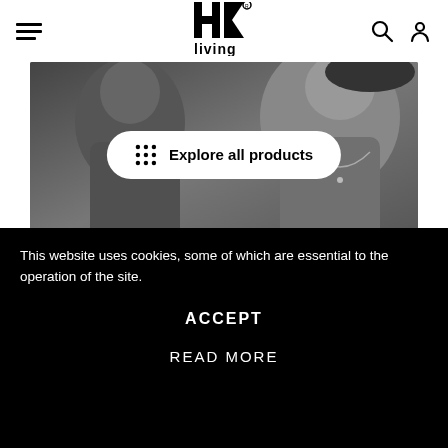HK living navigation bar with hamburger menu, logo, search and account icons
[Figure (photo): Black and white photo of two people close together, used as hero/banner image for HK Living website]
Explore all products
[Figure (logo): HK Living logo (partial) visible in footer area along with circular social media icons for Facebook, Instagram, and another platform]
This website uses cookies, some of which are essential to the operation of the site.
ACCEPT
READ MORE